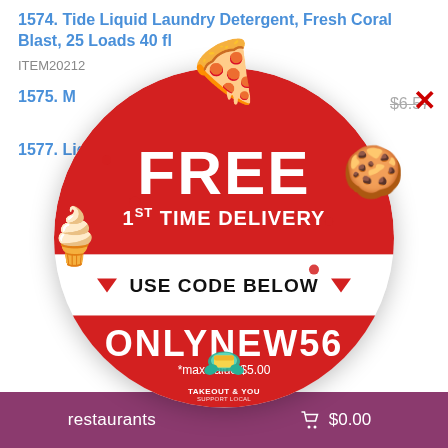1574. Tide Liquid Laundry Detergent, Fresh Coral Blast, 25 Loads 40 fl
$6.57
ITEM20212
1575. M
1577. Liquid Laundry
$6.15
[Figure (infographic): Circular promo badge with red background. Top section says FREE in large white bold text and 1ST TIME DELIVERY below. White middle band says USE CODE BELOW with red downward triangles. Bottom red section shows code ONLYNEW56 and *max value $5.00. Decorated with pizza, ice cream cone, and cookie cartoon characters. Takeout & You logo at bottom.]
restaurants
$0.00